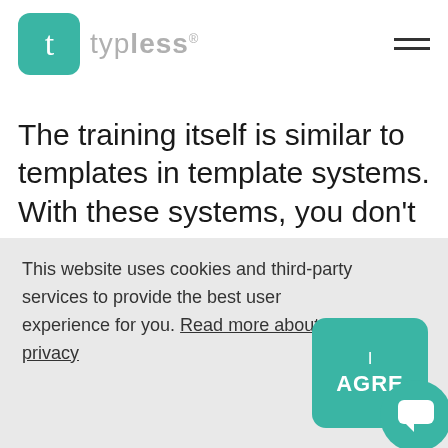typless
The training itself is similar to templates in template systems. With these systems, you don't need to select a template before data extraction. The training is also done in advance or on special occasions. The
This website uses cookies and third-party services to provide the best user experience for you. Read more about privacy